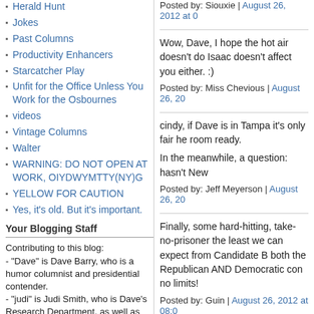Herald Hunt
Jokes
Past Columns
Productivity Enhancers
Starcatcher Play
Unfit for the Office Unless You Work for the Osbournes
videos
Vintage Columns
Walter
WARNING: DO NOT OPEN AT WORK, OIYDWYMTTY(NY)G
YELLOW FOR CAUTION
Yes, it's old. But it's important.
Your Blogging Staff
Contributing to this blog:
- "Dave" is Dave Barry, who is a humor columnist and presidential contender.
- "judi" is Judi Smith, who is Dave's Research Department, as well as being interested in
Posted by: Siouxie | August 26, 2012 at 0
Wow, Dave, I hope the hot air doesn't do... Isaac doesn't affect you either. :)
Posted by: Miss Chevious | August 26, 20
cindy, if Dave is in Tampa it's only fair he room ready.

In the meanwhile, a question: hasn't New
Posted by: Jeff Meyerson | August 26, 20
Finally, some hard-hitting, take-no-prisoner the least we can expect from Candidate B both the Republican AND Democratic con no limits!
Posted by: Guin | August 26, 2012 at 08:0